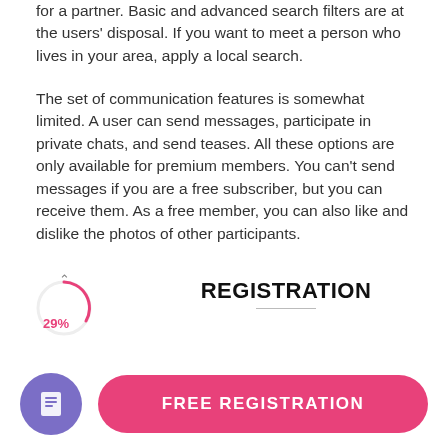for a partner. Basic and advanced search filters are at the users' disposal. If you want to meet a person who lives in your area, apply a local search.
The set of communication features is somewhat limited. A user can send messages, participate in private chats, and send teases. All these options are only available for premium members. You can’t send messages if you are a free subscriber, but you can receive them. As a free member, you can also like and dislike the photos of other participants.
[Figure (infographic): A circular progress indicator showing 29% in pink/red color with an upward chevron arrow above it]
REGISTRATION
The registration on Mixxxer is free of charge and is
[Figure (infographic): Bottom bar with a purple circular icon button containing a document/list icon, and a pink rounded button labeled FREE REGISTRATION]